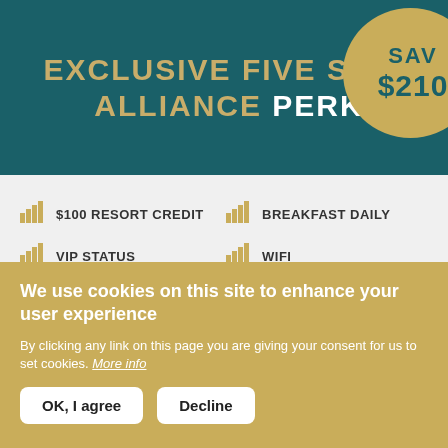EXCLUSIVE FIVE STAR ALLIANCE PERK
[Figure (infographic): Gold circular badge partially cropped on right edge showing 'SAV $210']
$100 RESORT CREDIT
BREAKFAST DAILY
VIP STATUS
WIFI
UPGRADE
EARLY CHECK-IN
LEARN MORE >
We use cookies on this site to enhance your user experience
By clicking any link on this page you are giving your consent for us to set cookies. More info
OK, I agree
Decline